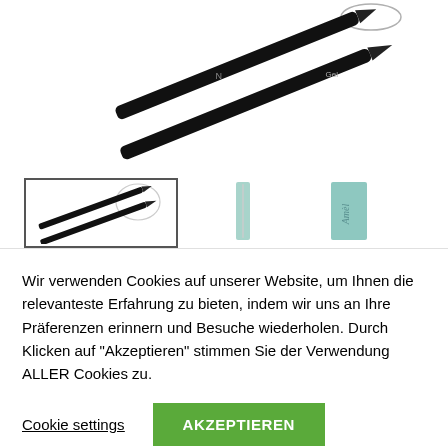[Figure (photo): Two black makeup/gel brush pens viewed diagonally, one labeled 'N' and one labeled 'Gel', on white background]
[Figure (photo): Three thumbnail product images: first shows the two black brushes with a circular icon, second shows a thin brush in teal packaging, third shows a teal product package with cursive text]
Wir verwenden Cookies auf unserer Website, um Ihnen die relevanteste Erfahrung zu bieten, indem wir uns an Ihre Präferenzen erinnern und Besuche wiederholen. Durch Klicken auf "Akzeptieren" stimmen Sie der Verwendung ALLER Cookies zu.
Cookie settings
AKZEPTIEREN